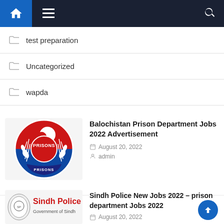Navigation bar with home, menu, and search icons
test preparation
Uncategorized
wapda
[Figure (logo): Balochistan Prisons Department circular logo with red and blue halves, crescent and star, and wheat stalks]
Balochistan Prison Department Jobs 2022 Advertisement
August 20, 2022
admin
[Figure (logo): Sindh Police logo with shield and text 'Sindh Police Government of Sindh' in red]
Sindh Police New Jobs 2022 – prison department Jobs 2022
August 20, 2022
admin